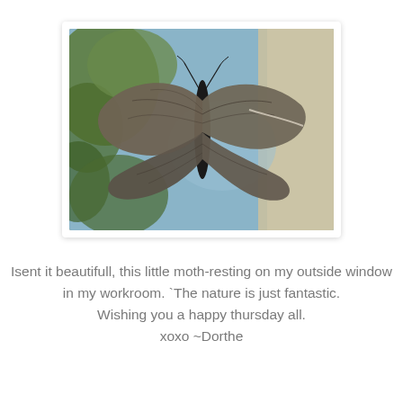[Figure (photo): A moth with large grey-brown wings spread open, resting on a window. Background shows blurred greenery and a light-coloured wall.]
Isent it beautifull, this little moth-resting on my outside window
in my workroom. `The nature is just fantastic.
Wishing you a happy thursday all.
xoxo ~Dorthe